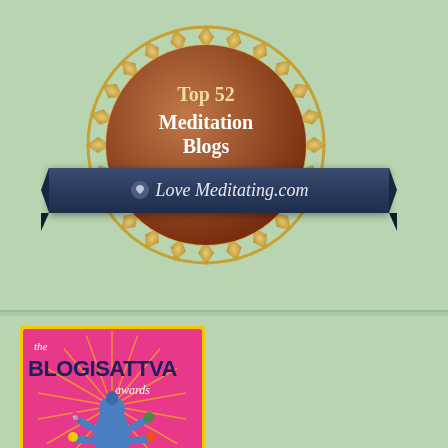[Figure (illustration): Award badge: brown circular seal with gold starburst/gear border showing 'Top 52 Meditation Blogs You Have To Follow In 2017' with a dark blue ribbon banner reading 'Love Meditating.com']
[Figure (logo): Blogisattva Awards logo with colorful illustration of a blue multi-armed Buddha figure holding various web/media icons, on a yellow and pink background]